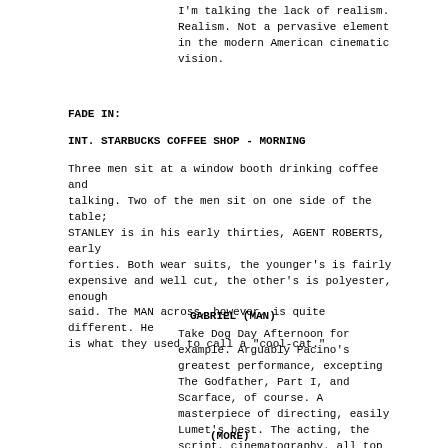I'm talking the lack of realism. Realism. Not a pervasive element in the modern American cinematic vision.
FADE IN:
INT. STARBUCKS COFFEE SHOP - MORNING
Three men sit at a window booth drinking coffee and talking. Two of the men sit on one side of the table; STANLEY is in his early thirties, AGENT ROBERTS, early forties. Both wear suits, the younger's is fairly expensive and well cut, the other's is polyester, enough said. The MAN across, however, is quite different. He is what they used to call a "cool-cat."
GABRIEL (MAN)
Take Dog Day Afternoon for example. Arguably Pacino's greatest performance, excepting The Godfather, Part I, and Scarface, of course. A masterpiece of directing, easily Lumet's best. The acting, the script, cinematography, all top notch. But, they didn't push the envelope. What if in Dog Day, Sonny really wanted to get away with it? What if, and here's where it gets tricky. What if they'd started killing hostages? No mercy, no quarter, meet our demands or the cute blonde in the bell bottoms gets one in the back of the head, bam, splatter. What? Still no bus?
(MORE)